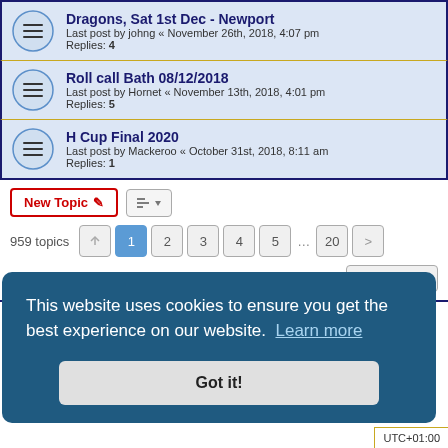Dragons, Sat 1st Dec - Newport
Last post by johng « November 26th, 2018, 4:07 pm
Replies: 4
Roll call Bath 08/12/2018
Last post by Hornet « November 13th, 2018, 4:01 pm
Replies: 5
H Cup Final 2020
Last post by Mackeroo « October 31st, 2018, 8:11 am
Replies: 1
New Topic  [sort icon]  959 topics  1 2 3 4 5 … 20 >
Jump to
FORUM PERMISSIONS
This website uses cookies to ensure you get the best experience on our website. Learn more
Got it!
UTC+01:00